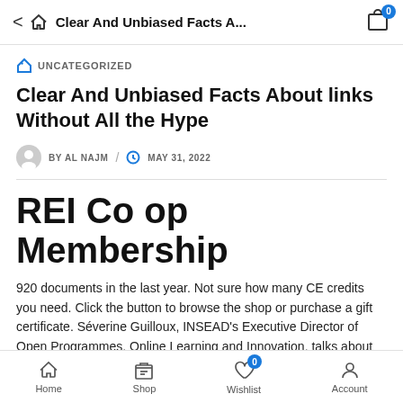Clear And Unbiased Facts A...
UNCATEGORIZED
Clear And Unbiased Facts About links Without All the Hype
BY AL NAJM / MAY 31, 2022
REI Co op Membership
920 documents in the last year. Not sure how many CE credits you need. Click the button to browse the shop or purchase a gift certificate. Séverine Guilloux, INSEAD's Executive Director of Open Programmes, Online Learning and Innovation, talks about
Home  Shop  Wishlist  Account